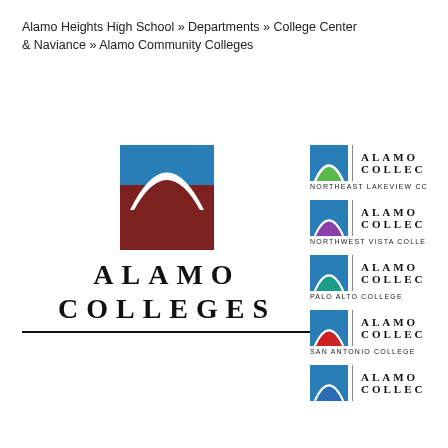Alamo Heights High School » Departments » College Center & Naviance » Alamo Community Colleges
[Figure (logo): Alamo Colleges main logo: square icon with blue top and dark red arch/dome shape below a white arch, with text ALAMO COLLEGES in spaced serif letters below and a horizontal rule]
[Figure (logo): Alamo Colleges Northeast Lakeview College logo: blue square with green dome, vertical divider, ALAMO COLLEGES text, NORTHEAST LAKEVIEW CC below]
[Figure (logo): Alamo Colleges Northwest Vista College logo: blue square with purple dome, vertical divider, ALAMO COLLEGES text, NORTHWEST VISTA COLLE below]
[Figure (logo): Alamo Colleges Palo Alto College logo: blue square with teal dome, vertical divider, ALAMO COLLEGES text, PALO ALTO COLLEGE below]
[Figure (logo): Alamo Colleges San Antonio College logo: blue square with red dome, vertical divider, ALAMO COLLEGES text, SAN ANTONIO COLLEGE below]
[Figure (logo): Alamo Colleges fifth college logo: blue square with blue dome, vertical divider, ALAMO COLLEGES text (partially visible)]